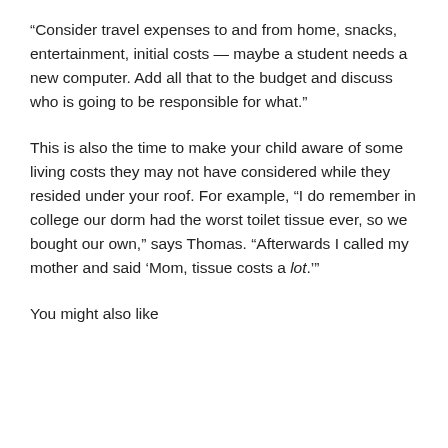“Consider travel expenses to and from home, snacks, entertainment, initial costs — maybe a student needs a new computer. Add all that to the budget and discuss who is going to be responsible for what.”
This is also the time to make your child aware of some living costs they may not have considered while they resided under your roof. For example, “I do remember in college our dorm had the worst toilet tissue ever, so we bought our own,” says Thomas. “Afterwards I called my mother and said ‘Mom, tissue costs a lot.’”
You might also like